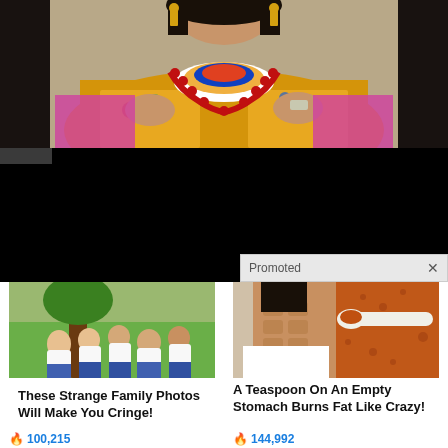[Figure (photo): Woman in traditional Bhutanese/Tibetan ornate golden robe with colorful embroidery and red bead necklace, wearing gold cross earrings, dark hair, standing in front of a decorated door]
JSV
[Figure (screenshot): Black area representing a dark/black section of a webpage, with a 'Promoted X' badge in the bottom right corner]
[Figure (photo): Family photo with several people in white shirts seated/standing around a tree outdoors]
These Strange Family Photos Will Make You Cringe!
🔥 100,215
[Figure (photo): Split image: person showing fit torso on left, spice powder with a spoon on right]
A Teaspoon On An Empty Stomach Burns Fat Like Crazy!
🔥 144,992